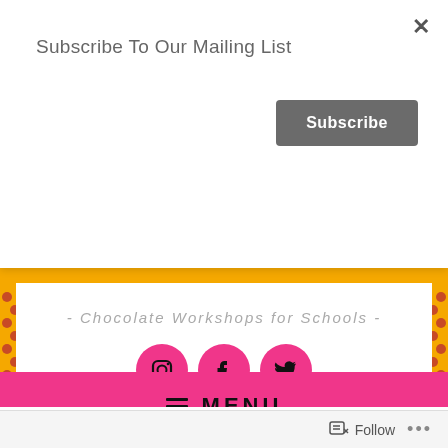Subscribe To Our Mailing List
×
Subscribe
- Chocolate Workshops for Schools -
[Figure (other): Three pink circular social media icons: Instagram, Facebook, Twitter]
≡ MENU
TAG: CHOCOLATE
Follow ...